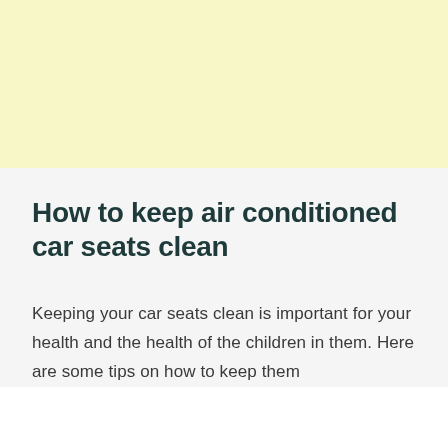[Figure (other): Light yellow banner area at the top of the page]
How to keep air conditioned car seats clean
Keeping your car seats clean is important for your health and the health of the children in them. Here are some tips on how to keep them